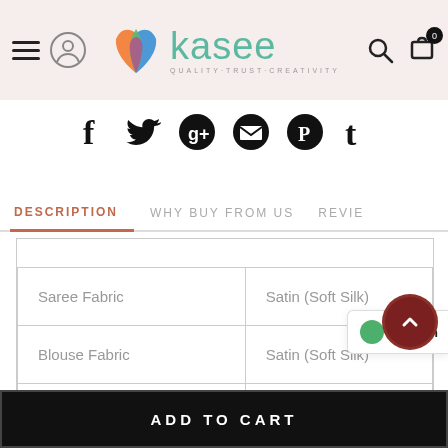Kasee — Quality·Trust·Creativity
[Figure (logo): Kasee brand logo with colorful leaf/flame icon and teal wordmark, tagline QUALITY·TRUST·CREATIVITY]
[Figure (infographic): Social sharing icons: Facebook, Twitter, Google+, Email, Pinterest, Tumblr]
DESCRIPTION | WHY BUY FROM US | REVIE...
| Property | Value |
| --- | --- |
| Saree Fabric | Satin (Soft Silk) |
| Blouse Fabric | Satin (Soft Silk) |
| Applique Fabric |  |
We're h
ADD TO CART